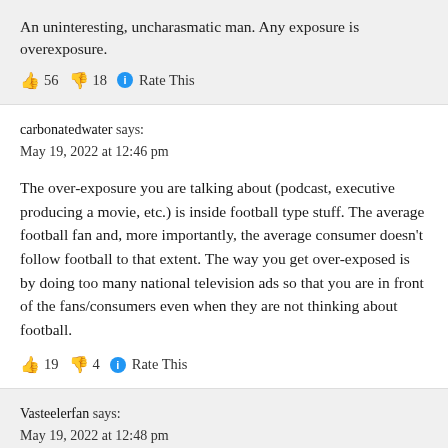An uninteresting, uncharasmatic man. Any exposure is overexposure.
👍 56 👎 18 ℹ Rate This
carbonatedwater says:
May 19, 2022 at 12:46 pm
The over-exposure you are talking about (podcast, executive producing a movie, etc.) is inside football type stuff. The average football fan and, more importantly, the average consumer doesn't follow football to that extent. The way you get over-exposed is by doing too many national television ads so that you are in front of the fans/consumers even when they are not thinking about football.
👍 19 👎 4 ℹ Rate This
Vasteelerfan says:
May 19, 2022 at 12:48 pm